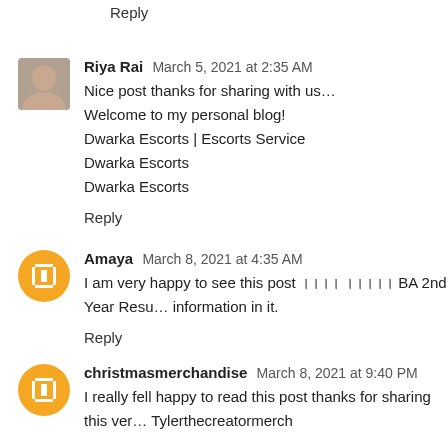Reply
Riya Rai  March 5, 2021 at 2:35 AM
Nice post thanks for sharing with us…
Welcome to my personal blog!
Dwarka Escorts | Escorts Service
Dwarka Escorts
Dwarka Escorts
Reply
Amaya  March 8, 2021 at 4:35 AM
I am very happy to see this post ।।।। ।।।।। BA 2nd Year Resu… information in it.
Reply
christmasmerchandise  March 8, 2021 at 9:40 PM
I really fell happy to read this post thanks for sharing this ver… Tylerthecreatormerch